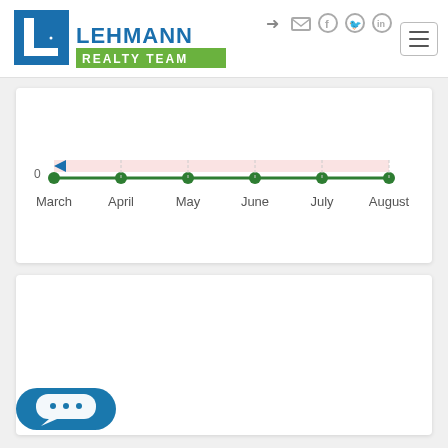[Figure (logo): Lehmann Realty Team logo with blue L building icon and green REALTY TEAM banner]
[Figure (other): Top navigation bar social icons: login arrow, mail, Facebook, Twitter, LinkedIn circles, and hamburger menu button]
[Figure (line-chart): Line chart with shaded area]
[Figure (other): Empty white card section below chart]
[Figure (other): Blue chat/messaging button with speech bubble and ellipsis icon at bottom left]